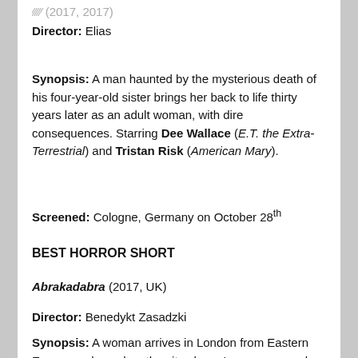Director: Elias
Synopsis: A man haunted by the mysterious death of his four-year-old sister brings her back to life thirty years later as an adult woman, with dire consequences. Starring Dee Wallace (E.T. the Extra-Terrestrial) and Tristan Risk (American Mary).
Screened: Cologne, Germany on October 28th
BEST HORROR SHORT
Abrakadabra (2017, UK)
Director: Benedykt Zasadzki
Synopsis: A woman arrives in London from Eastern Europe and wanders the city alone. In a museum, she acquires telepathic contact with an ancient Egyptian spiritual entity and after a horrific assault descends into